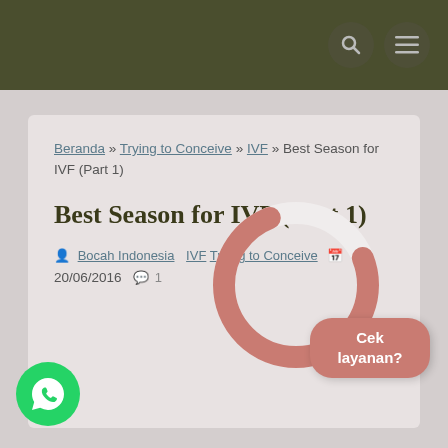Navigation header with search and menu icons
Beranda » Trying to Conceive » IVF » Best Season for IVF (Part 1)
Best Season for IVF (Part 1)
Bocah Indonesia | IVF Trying to Conceive | 20/06/2016 | 1 comment
[Figure (other): Circular loading spinner overlay with dusty rose/salmon arc on white ring background]
Cek layanan?
[Figure (logo): WhatsApp green circle icon button]